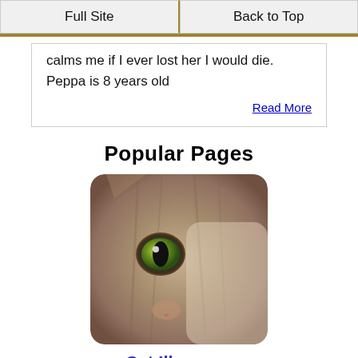Full Site | Back to Top
calms me if I ever lost her I would die. Peppa is 8 years old
Read More
Popular Pages
[Figure (photo): Close-up photo of a tabby cat's face with green eye]
Cat Illnesses
[Figure (photo): Photo of a cat's paw next to a toy mouse on a red surface]